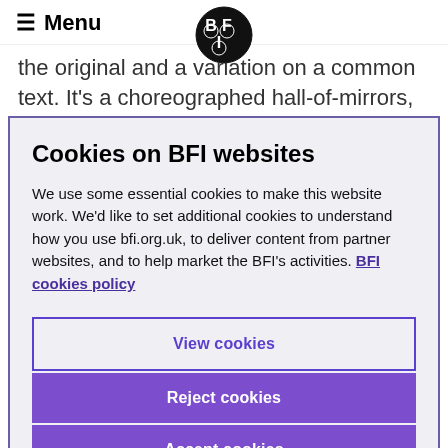Menu
the original and a variation on a common text. It's a choreographed hall-of-mirrors, an orchestrated echo chamber. The first version resonates
Cookies on BFI websites
We use some essential cookies to make this website work. We'd like to set additional cookies to understand how you use bfi.org.uk, to deliver content from partner websites, and to help market the BFI's activities. BFI cookies policy
View cookies
Reject cookies
Accept cookies